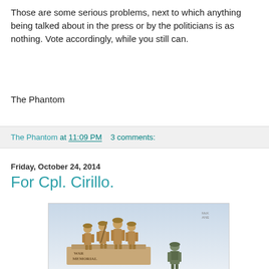Those are some serious problems, next to which anything being talked about in the press or by the politicians is as nothing. Vote accordingly, while you still can.
The Phantom
The Phantom at 11:09 PM   3 comments:
Friday, October 24, 2014
For Cpl. Cirillo.
[Figure (illustration): Editorial cartoon showing bronze war memorial statues of WWI soldiers on a pedestal labeled 'WAR MEMORIAL', with a modern soldier figure below looking up at them.]